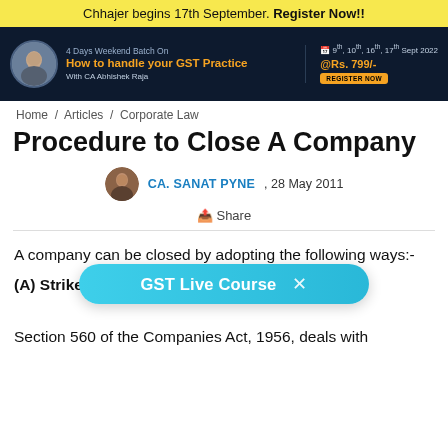Chhajer begins 17th September. Register Now!!
[Figure (screenshot): Dark blue advertisement banner for '4 Days Weekend Batch On How to handle your GST Practice' with CA Abhishek Raja, dates 9th, 10th, 16th, 17th Sept 2022 at Rs. 799/-]
Home / Articles / Corporate Law
Procedure to Close A Company
CA. SANAT PYNE , 28 May 2011
Share
A company can be closed by adopting the following ways:-
(A) Strike of … 560 :
Section 560 of the Companies Act, 1956, deals with
[Figure (screenshot): Floating teal pill button overlay reading 'GST Live Course' with an X close button]